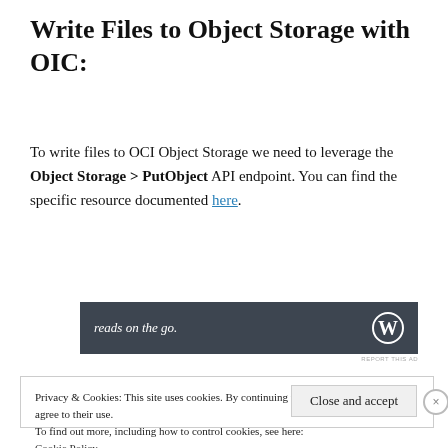Write Files to Object Storage with OIC:
To write files to OCI Object Storage we need to leverage the Object Storage > PutObject API endpoint. You can find the specific resource documented here.
[Figure (other): Dark advertisement banner with text 'reads on the go.' and a 'W' logo on the right]
Privacy & Cookies: This site uses cookies. By continuing to use this website, you agree to their use.
To find out more, including how to control cookies, see here:
Cookie Policy
Close and accept